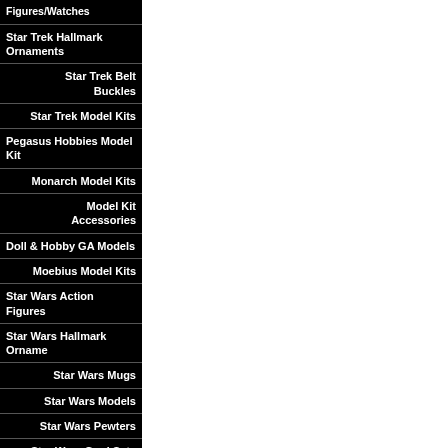Figures/Watches
Star Trek Hallmark Ornaments
Star Trek Belt Buckles
Star Trek Model Kits
Pegasus Hobbies Model Kit
Monarch Model Kits
Model Kit Accessories
Doll & Hobby GA Models
Moebius Model Kits
Star Wars Action Figures
Star Wars Hallmark Orname
Star Wars Mugs
Star Wars Models
Star Wars Pewters
Star Wars Card Sets